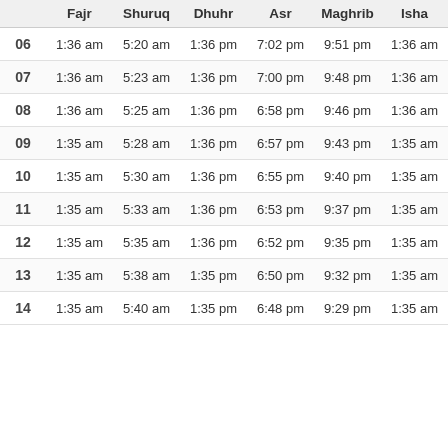|  | Fajr | Shuruq | Dhuhr | Asr | Maghrib | Isha |
| --- | --- | --- | --- | --- | --- | --- |
| 06 | 1:36 am | 5:20 am | 1:36 pm | 7:02 pm | 9:51 pm | 1:36 am |
| 07 | 1:36 am | 5:23 am | 1:36 pm | 7:00 pm | 9:48 pm | 1:36 am |
| 08 | 1:36 am | 5:25 am | 1:36 pm | 6:58 pm | 9:46 pm | 1:36 am |
| 09 | 1:35 am | 5:28 am | 1:36 pm | 6:57 pm | 9:43 pm | 1:35 am |
| 10 | 1:35 am | 5:30 am | 1:36 pm | 6:55 pm | 9:40 pm | 1:35 am |
| 11 | 1:35 am | 5:33 am | 1:36 pm | 6:53 pm | 9:37 pm | 1:35 am |
| 12 | 1:35 am | 5:35 am | 1:36 pm | 6:52 pm | 9:35 pm | 1:35 am |
| 13 | 1:35 am | 5:38 am | 1:35 pm | 6:50 pm | 9:32 pm | 1:35 am |
| 14 | 1:35 am | 5:40 am | 1:35 pm | 6:48 pm | 9:29 pm | 1:35 am |